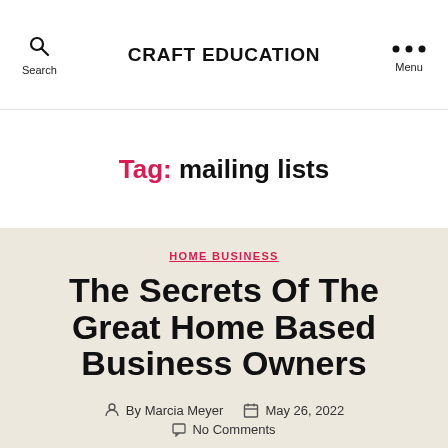CRAFT EDUCATION
Tag: mailing lists
HOME BUSINESS
The Secrets Of The Great Home Based Business Owners
By Marcia Meyer  May 26, 2022  No Comments